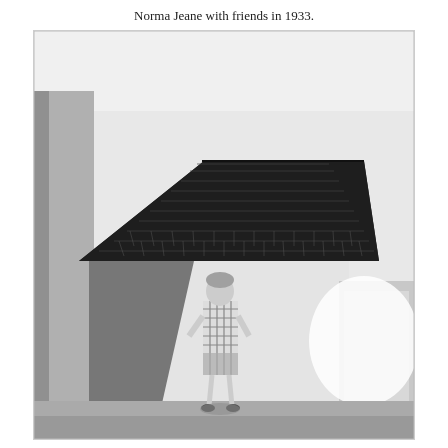Norma Jeane with friends in 1933.
[Figure (photo): Black and white photograph of a young girl (Norma Jeane) standing outdoors in a plaid dress in front of a building with a wood-shingle roof, 1933.]